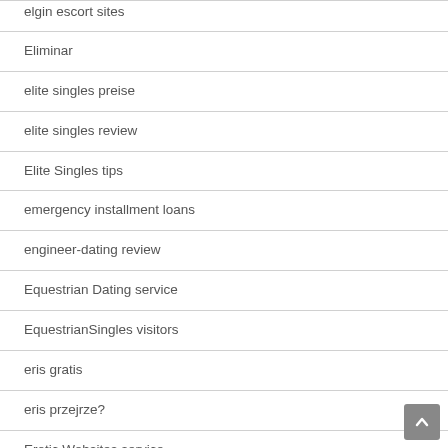elgin escort sites
Eliminar
elite singles preise
elite singles review
Elite Singles tips
emergency installment loans
engineer-dating review
Equestrian Dating service
EquestrianSingles visitors
eris gratis
eris przejrze?
Erotic Websites service
escort ads